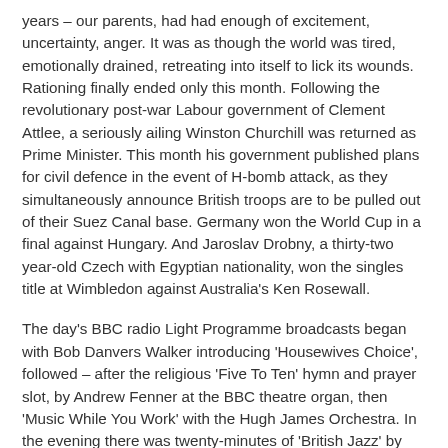years – our parents, had had enough of excitement, uncertainty, anger. It was as though the world was tired, emotionally drained, retreating into itself to lick its wounds. Rationing finally ended only this month. Following the revolutionary post-war Labour government of Clement Attlee, a seriously ailing Winston Churchill was returned as Prime Minister. This month his government published plans for civil defence in the event of H-bomb attack, as they simultaneously announce British troops are to be pulled out of their Suez Canal base. Germany won the World Cup in a final against Hungary. And Jaroslav Drobny, a thirty-two year-old Czech with Egyptian nationality, won the singles title at Wimbledon against Australia's Ken Rosewall.
The day's BBC radio Light Programme broadcasts began with Bob Danvers Walker introducing 'Housewives Choice', followed – after the religious 'Five To Ten' hymn and prayer slot, by Andrew Fenner at the BBC theatre organ, then 'Music While You Work' with the Hugh James Orchestra. In the evening there was twenty-minutes of 'British Jazz' by the Tony Kinsey Trio, which was about as hip as it got. The fourth series of 'The Goon Show' had ended a month earlier